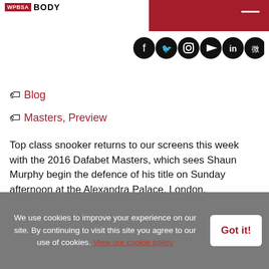WPBSA BODY
Blog
Masters, Preview
Top class snooker returns to our screens this week with the 2016 Dafabet Masters, which sees Shaun Murphy begin the defence of his title on Sunday afternoon at the Alexandra Palace, London.
Arguably the second biggest event of the year, certainly from a financial standpoint with the winner
We use cookies to improve your experience on our site. By continuing to visit this site you agree to our use of cookies. View our cookie policy